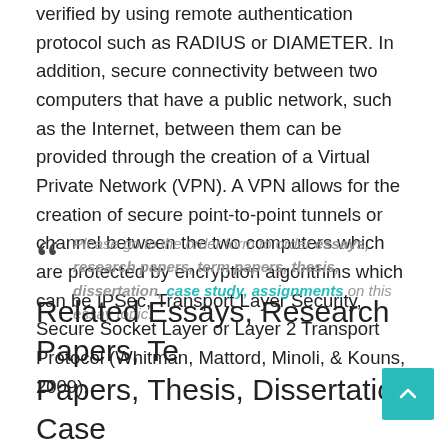verified by using remote authentication protocol such as RADIUS or DIAMETER. In addition, secure connectivity between two computers that have a public network, such as the Internet, between them can be provided through the creation of a Virtual Private Network (VPN). A VPN allows for the creation of secure point-to-point tunnels or channel between the two computers which are protected by encryption algorithms which can be IPSec, Transport Layer Security, Secure Socket Layer or Layer 2 Transport Protocol (Whitman, Mattord, Minoli, & Kouns, 2009).
Please go to the order form to order essays, research papers, term papers, thesis, dissertation, case study, assignments on this essay topic.
Related Essays, Research Papers, Term Papers, Thesis, Dissertation, Case...